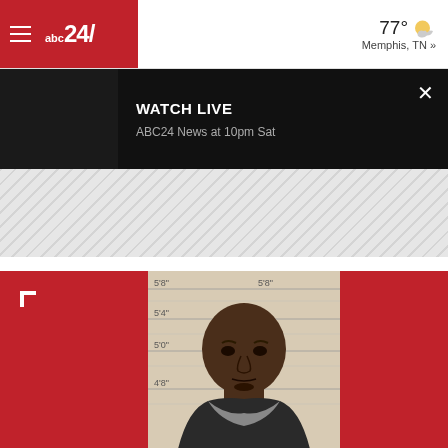[Figure (logo): ABC24 news website navigation bar with hamburger menu, ABC24 logo in red, weather showing 77° and Memphis, TN]
77°
Memphis, TN »
WATCH LIVE
ABC24 News at 10pm Sat
[Figure (photo): Mugshot photo of a bald Black man wearing a grey hoodie, standing in front of a height measurement chart showing markings at 4'8", 5'0", 5'4", 5'8"]